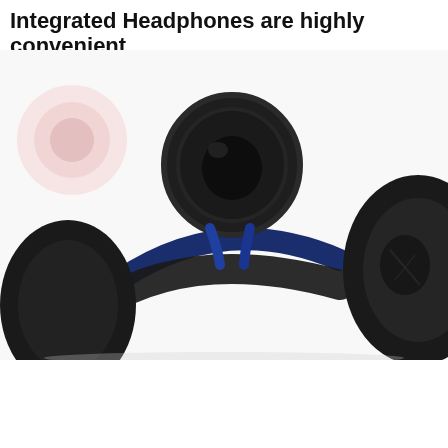Integrated Headphones are highly convenient
[Figure (photo): Close-up photo of integrated headphones showing the ear cups, headband with blue accent, and foam padding against a white background. A watermark/logo is visible in the upper left area of the image.]